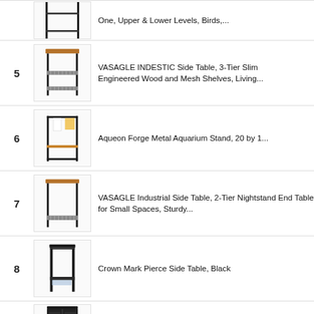5. VASAGLE INDESTIC Side Table, 3-Tier Slim Engineered Wood and Mesh Shelves, Living...
6. Aqueon Forge Metal Aquarium Stand, 20 by 1...
7. VASAGLE Industrial Side Table, 2-Tier Nightstand End Table for Small Spaces, Sturdy...
8. Crown Mark Pierce Side Table, Black
9. Ameriwood Home Flipper 10/20 Gallon Aquarium Stand, 15.7 x 25 x 28 inches